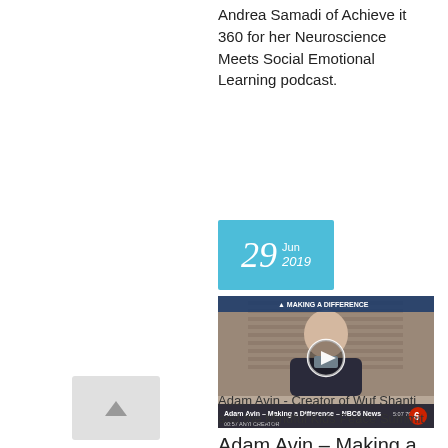Andrea Samadi of Achieve it 360 for her Neuroscience Meets Social Emotional Learning podcast.
29 Jun 2019
[Figure (screenshot): Video thumbnail of Adam Avin – Making a Difference – NBC6 News segment, showing a young man in a dark hoodie with a play button overlay. Bottom bar shows 'Adam Avin – Making a Difference – NBC6 News', timestamp 00:57, NBC6 logo.]
Adam Avin – Making a Difference – NBC 6 News
Adam Avin - Creator of Wuf Shanti and the Mindful Kids Peace Summit